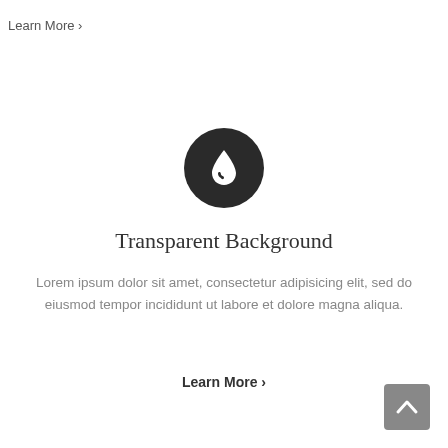Learn More ›
[Figure (illustration): Dark circular icon with a white water droplet symbol in the center]
Transparent Background
Lorem ipsum dolor sit amet, consectetur adipisicing elit, sed do eiusmod tempor incididunt ut labore et dolore magna aliqua.
Learn More ›
[Figure (other): Gray scroll-to-top button with upward chevron arrow]